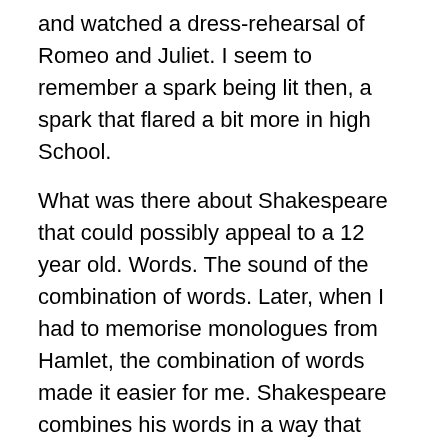and watched a dress-rehearsal of Romeo and Juliet. I seem to remember a spark being lit then, a spark that flared a bit more in high School.
What was there about Shakespeare that could possibly appeal to a 12 year old. Words. The sound of the combination of words. Later, when I had to memorise monologues from Hamlet, the combination of words made it easier for me. Shakespeare combines his words in a way that drove me as a reader onward.
Shakespeare is one of those writers that makes me want to read his texts out loud. The formation of the words in my mouth has a texture that is very appealing. When my ears hear those words they grab on to them and I have what I call a brain orgasm.
You see, being on the autism spectrum is often